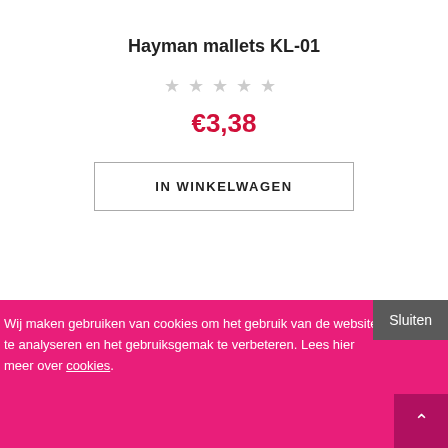Hayman mallets KL-01
★★★★★ (empty stars rating)
€3,38
IN WINKELWAGEN
Wij maken gebruiken van cookies om het gebruik van de website te analyseren en het gebruiksgemak te verbeteren. Lees hier meer over cookies.
Sluiten
▲